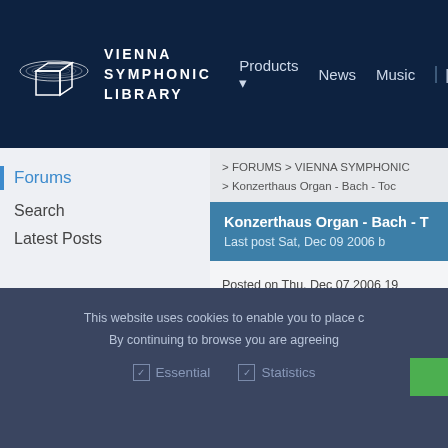VIENNA SYMPHONIC LIBRARY — Products | News | Music
Forums
Search
Latest Posts
> FORUMS > VIENNA SYMPHONIC
> Konzerthaus Organ - Bach - Toc
Konzerthaus Organ - Bach - T
Last post Sat, Dec 09 2006 b
Posted on Thu, Dec 07 2006 19
by herb
Joined on Mon, Aug 05 2002, Po
This website uses cookies to enable you to place c
By continuing to browse you are agreeing
Essential   Statistics